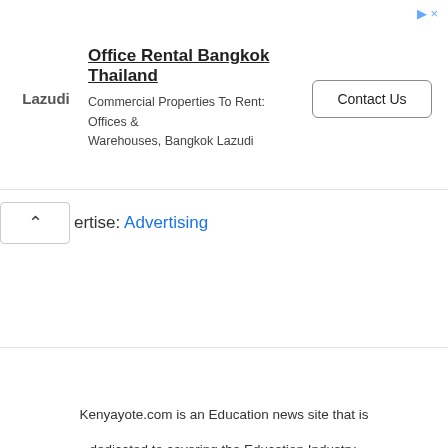[Figure (screenshot): Advertisement banner for Lazudi Office Rental Bangkok Thailand showing logo, title, description text, and Contact Us button]
Advertise: Advertising
Kenyayote.com is an Education news site that is dedicated to covering the Education Industry. © 2022 . Kenyayote.com | Managed by Kyote Internet Group |
About Us     Education News in Kenya     Teachers News in Kenya     Campus News     Privacy Policy     Terms     Contact     Advertise